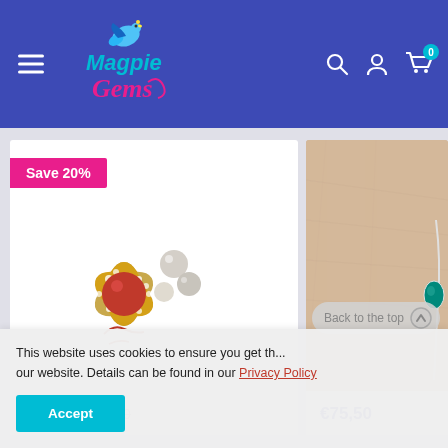[Figure (logo): Magpie Gems colorful logo with a bird illustration and stylized text]
[Figure (photo): Gold brooch with red coral center bead, pearls, and crystal rhinestones in a floral arrangement]
Save 20%
€20,00  €25,00
[Figure (photo): Close-up of a turquoise gem bracelet on skin]
€75,50
This website uses cookies to ensure you get th... our website. Details can be found in our Privacy Policy
Accept
Back to the top